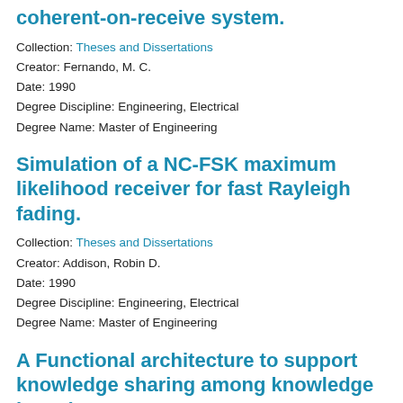coherent-on-receive system.
Collection: Theses and Dissertations
Creator: Fernando, M. C.
Date: 1990
Degree Discipline: Engineering, Electrical
Degree Name: Master of Engineering
Simulation of a NC-FSK maximum likelihood receiver for fast Rayleigh fading.
Collection: Theses and Dissertations
Creator: Addison, Robin D.
Date: 1990
Degree Discipline: Engineering, Electrical
Degree Name: Master of Engineering
A Functional architecture to support knowledge sharing among knowledge based systems.